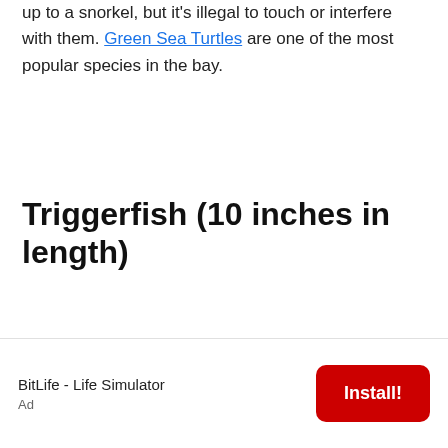up to a snorkel, but it's illegal to touch or interfere with them. Green Sea Turtles are one of the most popular species in the bay.
Triggerfish (10 inches in length)
[Figure (other): Advertisement banner for BitLife - Life Simulator app with an Install! button]
BitLife - Life Simulator
Ad